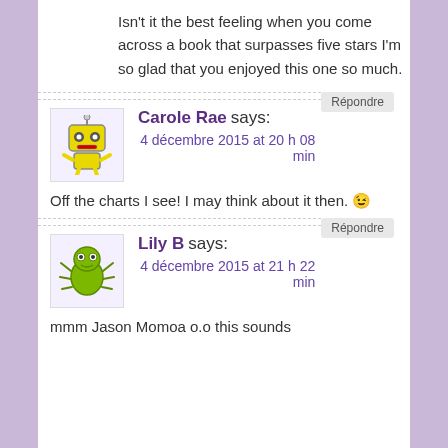Isn't it the best feeling when you come across a book that surpasses five stars I'm so glad that you enjoyed this one so much.
Répondre
Carole Rae says:
4 décembre 2015 at 20 h 08 min
Off the charts I see! I may think about it then. 😉
Répondre
Lily B says:
4 décembre 2015 at 21 h 22 min
mmm Jason Momoa o.o this sounds